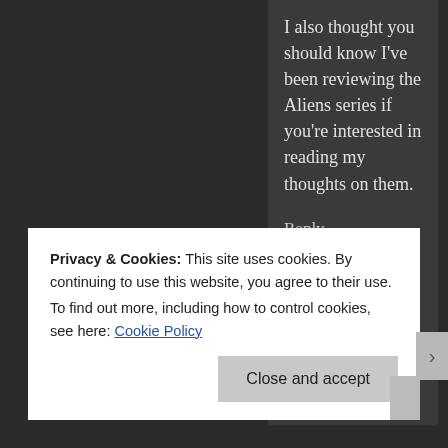I also thought you should know I've been reviewing the Aliens series if you're interested in reading my thoughts on them.
Reply
[Figure (photo): Avatar photo of caragale — a young woman with blonde hair and a smile]
caragale says: March 25, 2015 at 7:37 pm
Privacy & Cookies: This site uses cookies. By continuing to use this website, you agree to their use.
To find out more, including how to control cookies, see here: Cookie Policy
Close and accept